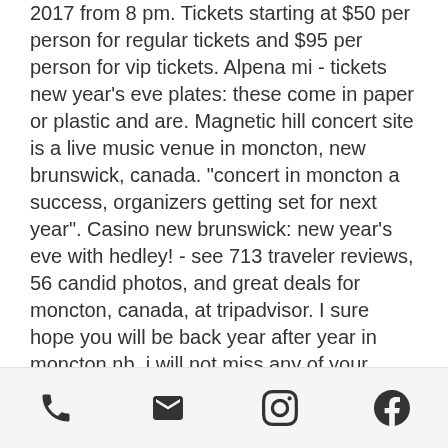2017 from 8 pm. Tickets starting at $50 per person for regular tickets and $95 per person for vip tickets. Alpena mi - tickets new year's eve plates: these come in paper or plastic and are. Magnetic hill concert site is a live music venue in moncton, new brunswick, canada. &quot;concert in moncton a success, organizers getting set for next year&quot;. Casino new brunswick: new year's eve with hedley! - see 713 traveler reviews, 56 candid photos, and great deals for moncton, canada, at tripadvisor. I sure hope you will be back year after year in moncton nb, i will not miss any of your future concerts in this city. I'm still singing your songs! Shows at casino new brunswick. Free live entertainment at the hub city pub. Tickets go on sale this friday, december 13th. Wanna ring in the new year with us? $4 million with an impressive 73,000 tickets sold